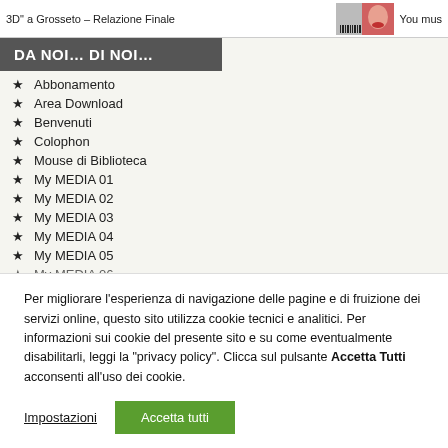3D" a Grosseto – Relazione Finale   You mus
DA NOI… DI NOI…
Abbonamento
Area Download
Benvenuti
Colophon
Mouse di Biblioteca
My MEDIA 01
My MEDIA 02
My MEDIA 03
My MEDIA 04
My MEDIA 05
My MEDIA 06
Per migliorare l'esperienza di navigazione delle pagine e di fruizione dei servizi online, questo sito utilizza cookie tecnici e analitici. Per informazioni sui cookie del presente sito e su come eventualmente disabilitarli, leggi la "privacy policy". Clicca sul pulsante Accetta Tutti acconsenti all'uso dei cookie.
Impostazioni   Accetta tutti